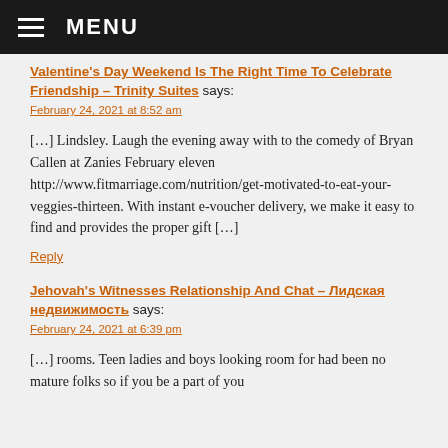≡ MENU
Valentine's Day Weekend Is The Right Time To Celebrate Friendship – Trinity Suites says:
February 24, 2021 at 8:52 am
[…] Lindsley. Laugh the evening away with to the comedy of Bryan Callen at Zanies February eleven http://www.fitmarriage.com/nutrition/get-motivated-to-eat-your-veggies-thirteen. With instant e-voucher delivery, we make it easy to find and provides the proper gift […]
Reply
Jehovah's Witnesses Relationship And Chat – Лидская недвижимость says:
February 24, 2021 at 6:39 pm
[…] rooms. Teen ladies and boys looking room for had been no mature folks so if you be a part of you